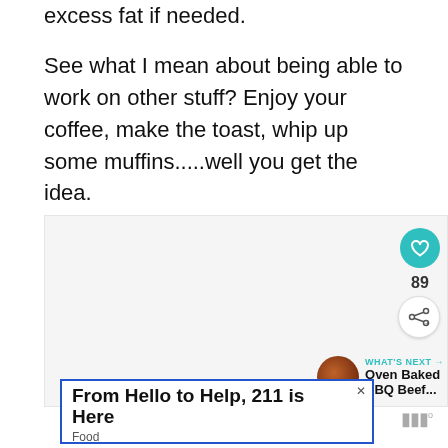excess fat if needed.

See what I mean about being able to work on other stuff? Enjoy your coffee, make the toast, whip up some muffins.....well you get the idea.
[Figure (photo): Blank image area with social interaction buttons: heart/like button (teal, 89 likes), share button, and a 'What's Next' preview showing Oven Baked BBQ Beef...]
From Hello to Help, 211 is Here
Food